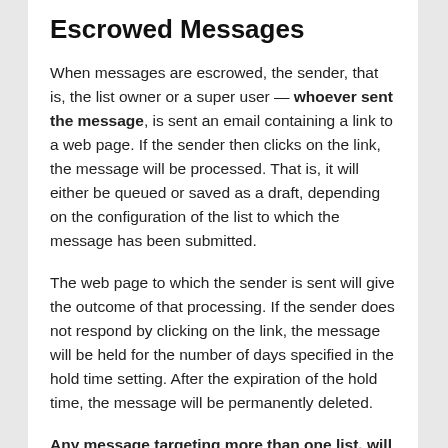Escrowed Messages
When messages are escrowed, the sender, that is, the list owner or a super user — whoever sent the message, is sent an email containing a link to a web page. If the sender then clicks on the link, the message will be processed. That is, it will either be queued or saved as a draft, depending on the configuration of the list to which the message has been submitted.
The web page to which the sender is sent will give the outcome of that processing. If the sender does not respond by clicking on the link, the message will be held for the number of days specified in the hold time setting. After the expiration of the hold time, the message will be permanently deleted.
Any message targeting more than one list, will always be saved as a draft, regardless of the configuration of the lists targeted.
Security Considerations